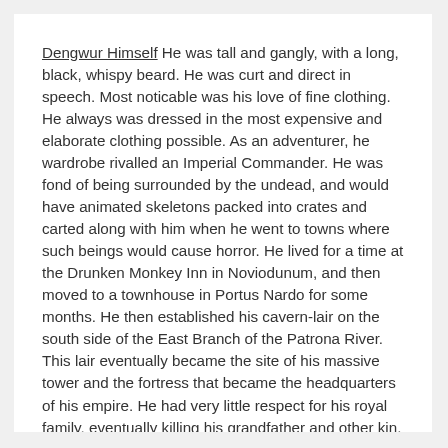Dengwur Himself He was tall and gangly, with a long, black, whispy beard. He was curt and direct in speech. Most noticable was his love of fine clothing. He always was dressed in the most expensive and elaborate clothing possible. As an adventurer, he wardrobe rivalled an Imperial Commander. He was fond of being surrounded by the undead, and would have animated skeletons packed into crates and carted along with him when he went to towns where such beings would cause horror. He lived for a time at the Drunken Monkey Inn in Noviodunum, and then moved to a townhouse in Portus Nardo for some months. He then established his cavern-lair on the south side of the East Branch of the Patrona River. This lair eventually became the site of his massive tower and the fortress that became the headquarters of his empire. He had very little respect for his royal family, eventually killing his grandfather and other kin.